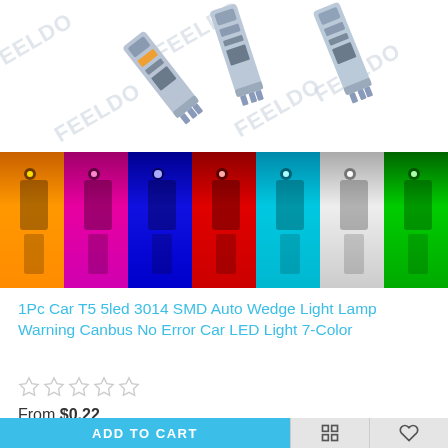[Figure (photo): Product photo showing three T5 LED circuit board bulbs on white background with FEELDO watermarks, and a color strip showing the 7 available colors: orange/amber, pink/magenta, blue, red, cyan/light blue, white, and green]
1Pc Car T5 5led 3014 SMD Auto Wedge Light Lamp Warning Canbus No Error Car LED Light 7-Color
From $0.22
ADD TO CART